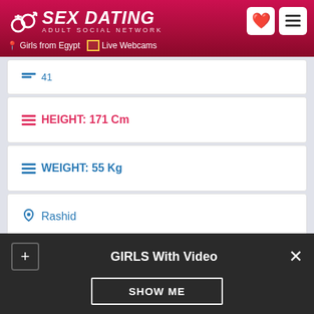SEX DATING - ADULT SOCIAL NETWORK - Girls from Egypt | Live Webcams
HEIGHT: 171 Cm
WEIGHT: 55 Kg
Rashid
Egypt
327 visits
1 hours ago
HAIR: Blonde
GIRLS With Video
SHOW ME